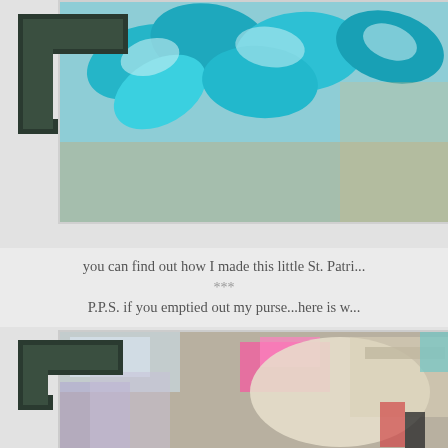[Figure (photo): Top portion of a scrapbook-style blog page showing teal/blue paper flower decorations in a white-bordered photo frame with dark corner bracket decoration on the left]
you can find out how I made this little St. Patri...
***
P.P.S. if you emptied out my purse...here is w...
[Figure (photo): Bottom photo showing contents of a purse with various items including pink and colorful items, cosmetics, fabric bag. Overlaid with a black scallop-edged speech bubble containing white text: 'yes i keep washi tape in my purse {& I put it on my cords to keep them straight}']